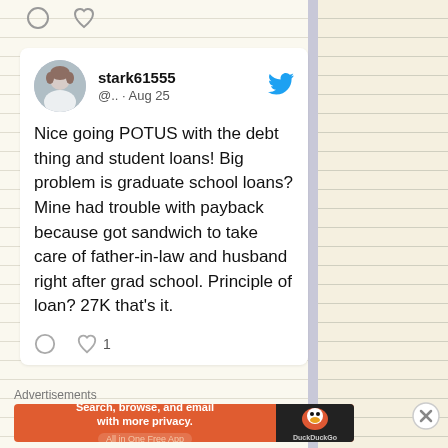[Figure (screenshot): Top of previous tweet bottom with comment and heart icons]
stark61555 @.. · Aug 25
Nice going POTUS with the debt thing and student loans! Big problem is graduate school loans? Mine had trouble with payback because got sandwich to take care of father-in-law and husband right after grad school. Principle of loan? 27K that's it.
1
Advertisements
[Figure (screenshot): DuckDuckGo advertisement banner: Search, browse, and email with more privacy. All in One Free App]